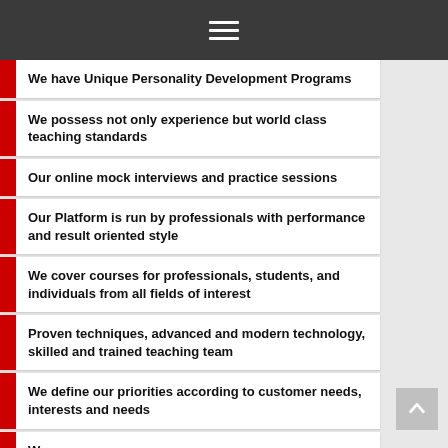hamburger menu
We have Unique Personality Development Programs
We possess not only experience but world class teaching standards
Our online mock interviews and practice sessions
Our Platform is run by professionals with performance and result oriented style
We cover courses for professionals, students, and individuals from all fields of interest
Proven techniques, advanced and modern technology, skilled and trained teaching team
We define our priorities according to customer needs, interests and needs
We...